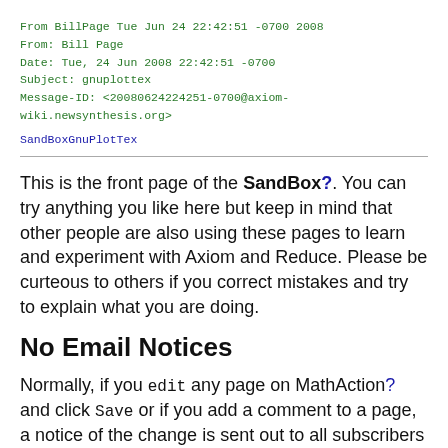From BillPage Tue Jun 24 22:42:51 -0700 2008
From: Bill Page
Date: Tue, 24 Jun 2008 22:42:51 -0700
Subject: gnuplottex
Message-ID: <20080624224251-0700@axiom-wiki.newsynthesis.org>
SandBoxGnuPlotTex
This is the front page of the SandBox?. You can try anything you like here but keep in mind that other people are also using these pages to learn and experiment with Axiom and Reduce. Please be curteous to others if you correct mistakes and try to explain what you are doing.
No Email Notices
Normally, if you edit any page on MathAction? and click Save or if you add a comment to a page, a notice of the change is sent out to all subscribers on the axiom-developer email list, see the [Axiom Community]?. Separate notices are also sent to those